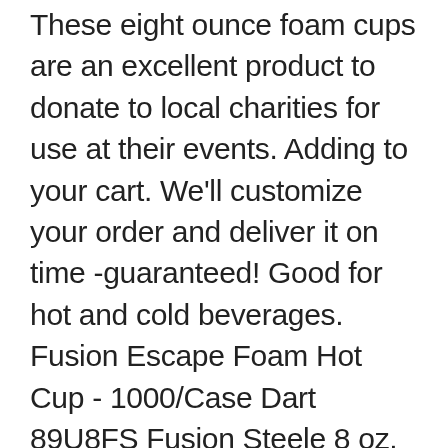These eight ounce foam cups are an excellent product to donate to local charities for use at their events. Adding to your cart. We'll customize your order and deliver it on time -guaranteed! Good for hot and cold beverages. Fusion Escape Foam Hot Cup - 1000/Case Dart 89U8FS Fusion Steele 8 oz. 1000-Pack 8 oz. Huge Catalog! Cup - Styrofoam 8 oz (1000 / Case) Product Code: 1030300025. Add to cart . 8 oz. White Paper Disposable Hot Beverage Coffee Cups Single Wall. Maintain beverages at their optimal temperature longer with Dart insulated foam cups. Browse 8+oz+foam+cups on sale, by desired features, or by customer ratings. The Foam Cups by Gold Medal: Disposable Styrofoam Cups, 8 oz - high density